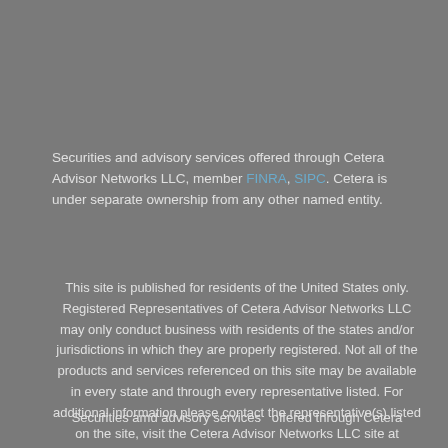Securities and advisory services offered through Cetera Advisor Networks LLC, member FINRA, SIPC. Cetera is under separate ownership from any other named entity.
This site is published for residents of the United States only. Registered Representatives of Cetera Advisor Networks LLC may only conduct business with residents of the states and/or jurisdictions in which they are properly registered. Not all of the products and services referenced on this site may be available in every state and through every representative listed. For additional information please contact the representative(s) listed on the site, visit the Cetera Advisor Networks LLC site at www.ceteraadvisornetworks.com
Securities amd advisory services  offered through Cetera